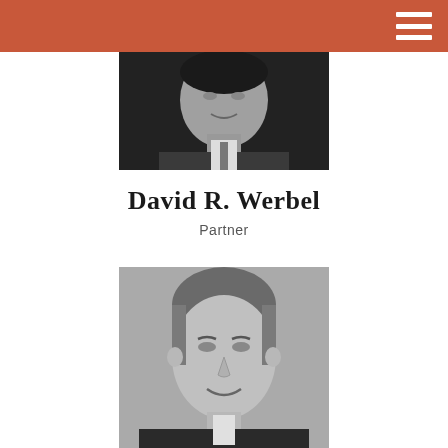[Figure (photo): Black and white professional headshot of David R. Werbel, a man in a suit and tie, smiling]
David R. Werbel
Partner
[Figure (photo): Black and white professional headshot of a middle-aged man with short hair, smiling, wearing a suit]